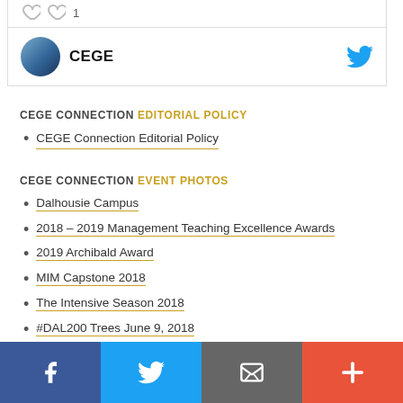[Figure (screenshot): CEGE Twitter profile card with avatar and Twitter bird icon]
CEGE CONNECTION EDITORIAL POLICY
CEGE Connection Editorial Policy
CEGE CONNECTION EVENT PHOTOS
Dalhousie Campus
2018 – 2019 Management Teaching Excellence Awards
2019 Archibald Award
MIM Capstone 2018
The Intensive Season 2018
#DAL200 Trees June 9, 2018
#DAL200 Coast to Coast
Facebook | Twitter | Email | More